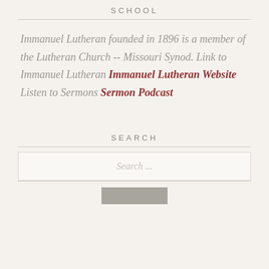SCHOOL
Immanuel Lutheran founded in 1896 is a member of the Lutheran Church -- Missouri Synod. Link to Immanuel Lutheran Immanuel Lutheran Website Listen to Sermons Sermon Podcast
SEARCH
Search ...